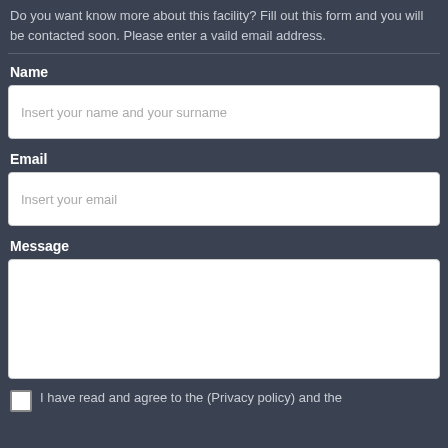Do you want know more about this facility? Fill out this form and you will be contacted soon. Please enter a vaild email address.
Name
Insert your name and your surname
Email
Insert your email
Message
I have read and agree to the (Privacy policy) and the